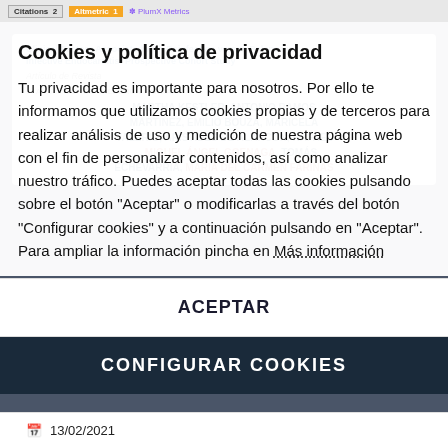Citations 2 | Altmetric 1 | PlumX Metrics
Clinical Factors Associated with Reinfection versus Relapse in Infective Endocarditis: Prospective Cohort Study
Artículo de Revista
Autoría: JORGE CALDERON PARRA, MARTHA KESTLER, ANTONIO RAMOS MARTINEZ, EMILIO BOUZA, MARICELA VALERIO, ARISTIDES DE ALARCON, RAFAEL ..., MIGUEL ÁNGEL GOENAGA, TOMÁS ECHEVARRÍA, MARIA DEL CARMEN FARIÑAS
Cookies y política de privacidad
Tu privacidad es importante para nosotros. Por ello te informamos que utilizamos cookies propias y de terceros para realizar análisis de uso y medición de nuestra página web con el fin de personalizar contenidos, así como analizar nuestro tráfico. Puedes aceptar todas las cookies pulsando sobre el botón "Aceptar" o modificarlas a través del botón "Configurar cookies" y a continuación pulsando en "Aceptar". Para ampliar la información pincha en Más información
OJEDA BURGOS, ANA FERNANDEZ CRUZ,
ACEPTAR
CONFIGURAR COOKIES
13/02/2021